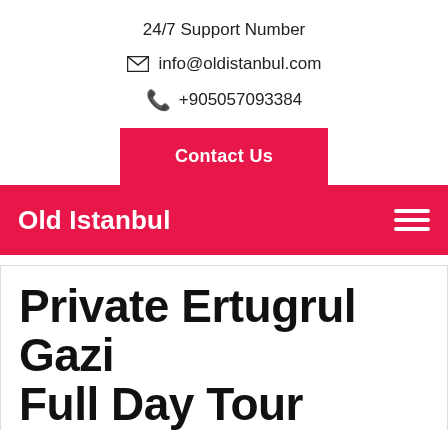24/7 Support Number
info@oldistanbul.com
+905057093384
Contact Us
Old Istanbul
Private Ertugrul Gazi Full Day Tour